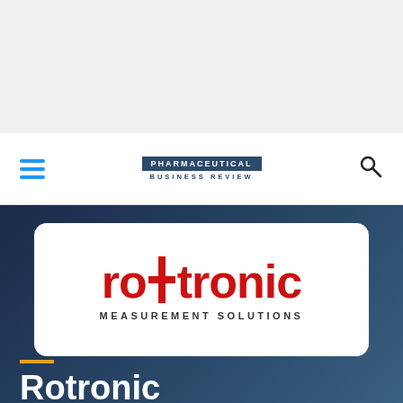[Figure (other): Top grey banner area]
PHARMACEUTICAL BUSINESS REVIEW
[Figure (logo): Rotronic Measurement Solutions logo on white rounded card with dark blue background]
Rotronic